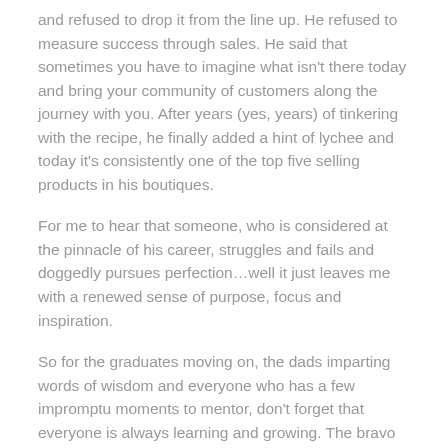and refused to drop it from the line up. He refused to measure success through sales. He said that sometimes you have to imagine what isn't there today and bring your community of customers along the journey with you. After years (yes, years) of tinkering with the recipe, he finally added a hint of lychee and today it's consistently one of the top five selling products in his boutiques.
For me to hear that someone, who is considered at the pinnacle of his career, struggles and fails and doggedly pursues perfection…well it just leaves me with a renewed sense of purpose, focus and inspiration.
So for the graduates moving on, the dads imparting words of wisdom and everyone who has a few impromptu moments to mentor, don't forget that everyone is always learning and growing. The bravo